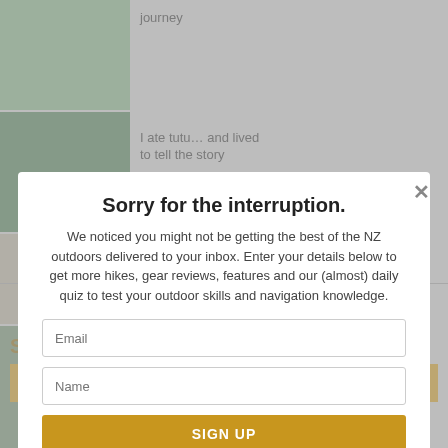[Figure (screenshot): Thumbnail image of person in green outdoor setting]
journey
[Figure (screenshot): Thumbnail image of person examining plants outdoors]
I ate tutu… and lived to tell the story
[Figure (screenshot): Thumbnail of handwritten notes/map]
Pen to paper
[Figure (screenshot): Thumbnail of outdoor landscape/navigation scene]
Action-packed navigation game
SIMILAR ARTICLES
1 free article left this month
SUBSCRIBE NOW FOR FULL ACCESS
Already a subscriber? Login Now
Sorry for the interruption.
We noticed you might not be getting the best of the NZ outdoors delivered to your inbox. Enter your details below to get more hikes, gear reviews, features and our (almost) daily quiz to test your outdoor skills and navigation knowledge.
Email
Name
SIGN UP